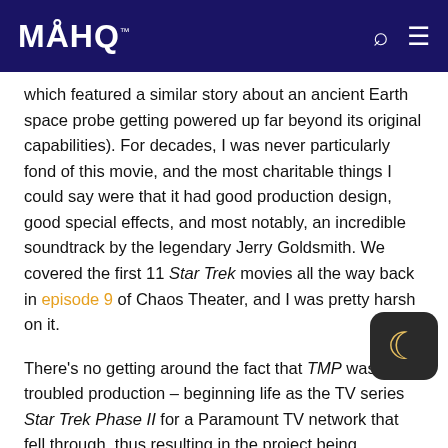MAHQ
which featured a similar story about an ancient Earth space probe getting powered up far beyond its original capabilities). For decades, I was never particularly fond of this movie, and the most charitable things I could say were that it had good production design, good special effects, and most notably, an incredible soundtrack by the legendary Jerry Goldsmith. We covered the first 11 Star Trek movies all the way back in episode 9 of Chaos Theater, and I was pretty harsh on it.
There's no getting around the fact that TMP was a troubled production – beginning life as the TV series Star Trek Phase II for a Paramount TV network that fell through, thus resulting in the project being rebooted as a feature film. There are stories of Gene...